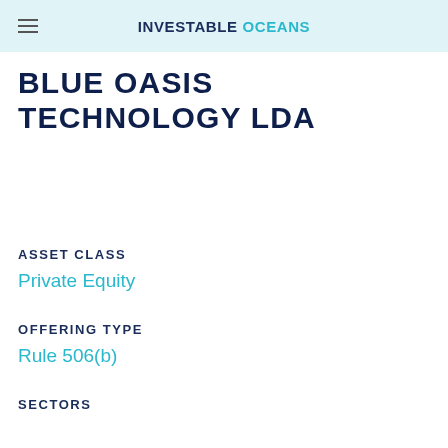INVESTABLE OCEANS
BLUE OASIS TECHNOLOGY LDA
ASSET CLASS
Private Equity
OFFERING TYPE
Rule 506(b)
SECTORS